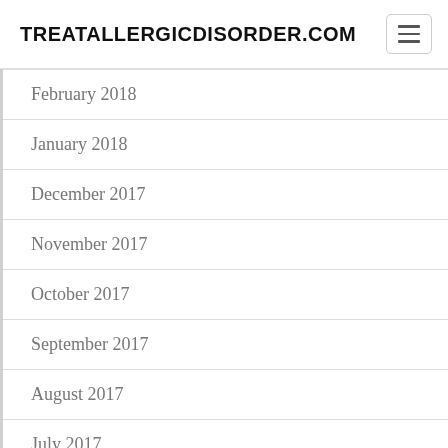TREATALLERGICDISORDER.COM
February 2018
January 2018
December 2017
November 2017
October 2017
September 2017
August 2017
July 2017
June 2017
May 2017